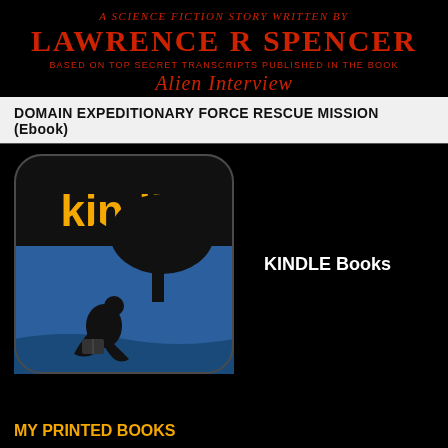A Science Fiction Story written by Lawrence R Spencer
Based on Top Secret Transcripts Published in the Book Alien Interview
DOMAIN EXPEDITIONARY FORCE RESCUE MISSION (Ebook)
[Figure (logo): Kindle logo with silhouette of person reading under a tree against blue background]
KINDLE Books
MY PRINTED BOOKS
1,001 Things To Do While You're Dead – A Dead Persons Guide to